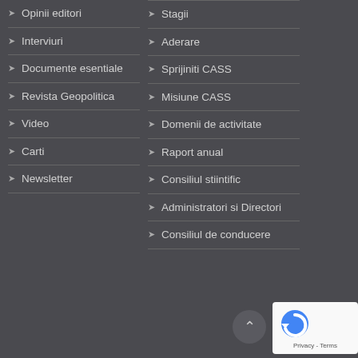Opinii editori
Interviuri
Documente esentiale
Revista Geopolitica
Video
Carti
Newsletter
Stagii
Aderare
Sprijiniti CASS
Misiune CASS
Domenii de activitate
Raport anual
Consiliul stiintific
Administratori si Directori
Consiliul de conducere